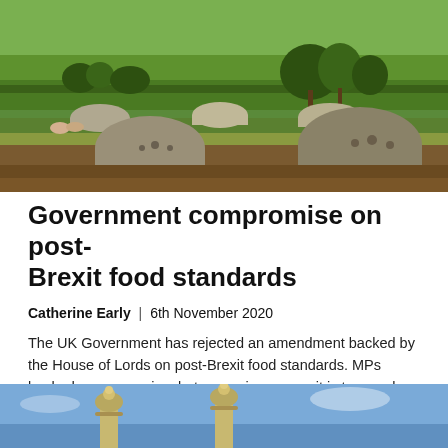[Figure (photo): Agricultural field with large rounded hay bale shelters/pig arks on green farmland, with grazing animals and trees in the background.]
Government compromise on post-Brexit food standards
Catherine Early | 6th November 2020
The UK Government has rejected an amendment backed by the House of Lords on post-Brexit food standards. MPs backed a compromise, but campaigners say it is too weak.
[Figure (photo): Bottom portion of a photo showing ornate architectural details, possibly decorative lamp posts or building tops against a blue sky.]